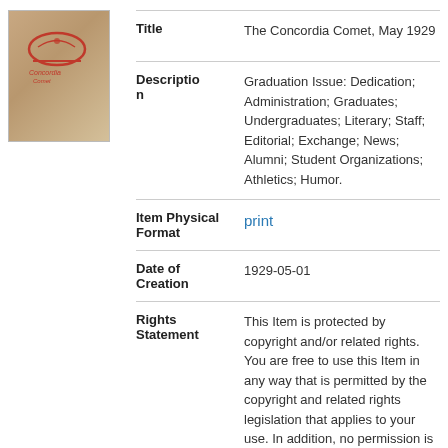[Figure (photo): Cover image of The Concordia Comet, May 1929 — a book/magazine cover with reddish design elements on a tan/brown background]
| Field | Value |
| --- | --- |
| Title | The Concordia Comet, May 1929 |
| Description | Graduation Issue: Dedication; Administration; Graduates; Undergraduates; Literary; Staff; Editorial; Exchange; News; Alumni; Student Organizations; Athletics; Humor. |
| Item Physical Format | print |
| Date of Creation | 1929-05-01 |
| Rights Statement | This Item is protected by copyright and/or related rights. You are free to use this Item in any way that is permitted by the copyright and related rights legislation that applies to your use. In addition, no permission is |